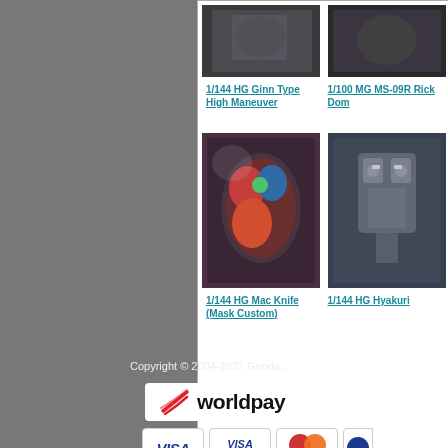[Figure (screenshot): Partial product image for 1/144 HG Ginn Type High Maneuver model kit]
1/144 HG Ginn Type High Maneuver
[Figure (screenshot): Partial product image for 1/100 MG MS-09R Rick Dom model kit]
1/100 MG MS-09R Rick Dom
[Figure (photo): 1/144 HG Mac Knife (Mask Custom) model kit image showing colorful mecha robot]
1/144 HG Mac Knife (Mask Custom)
[Figure (photo): 1/144 HG Hyakuri model kit image showing grey mecha]
1/144 HG Hyakuri
Copyright © 2004-2022 Gunda...
[Figure (logo): Worldpay payment logo - white badge with red swoosh and worldpay text]
[Figure (logo): VISA payment card logo]
[Figure (logo): VISA Electron payment card logo]
[Figure (logo): MasterCard payment logo with overlapping red and orange circles]
[Figure (logo): Partial payment card logo (cut off at right edge)]